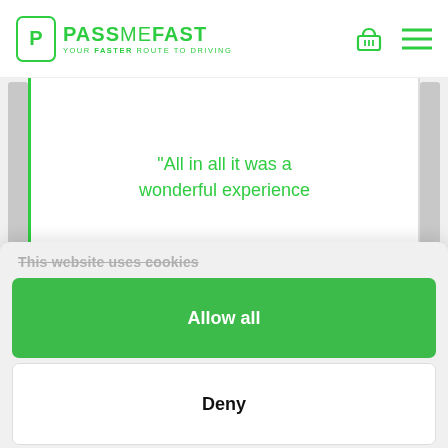[Figure (logo): PassMeFast logo — green P in a rounded rectangle, with text PASS ME FAST and tagline YOUR FASTER ROUTE TO DRIVING]
“All in all it was a wonderful experience
This website uses cookies
Allow all
Deny
Powered by Cookiebot by Usercentrics